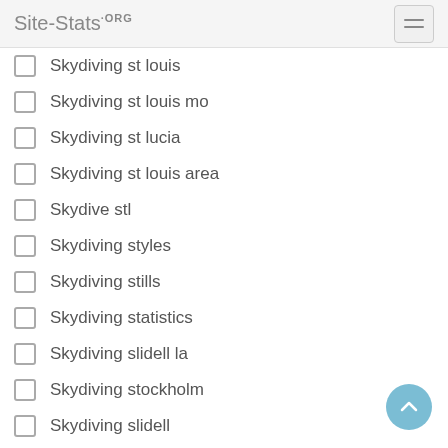Site-Stats.ORG
Skydiving st louis
Skydiving st louis mo
Skydiving st lucia
Skydiving st louis area
Skydive stl
Skydiving styles
Skydiving stills
Skydiving statistics
Skydiving slidell la
Skydiving stockholm
Skydiving slidell
Skydiving st andrews
Skydiving st kilda